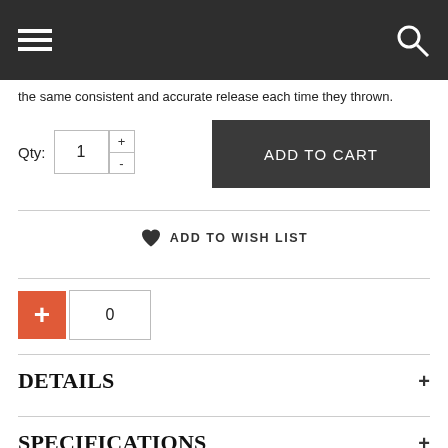Navigation bar with menu and search icons
the same consistent and accurate release each time they thrown.
Qty: 1 ADD TO CART
♥ ADD TO WISH LIST
+ 0
DETAILS +
SPECIFICATIONS +